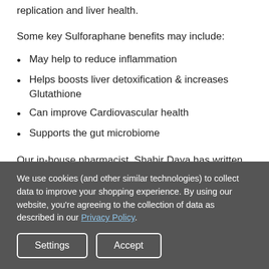replication and liver health.
Some key Sulforaphane benefits may include:
May help to reduce inflammation
Helps boosts liver detoxification & increases Glutathione
Can improve Cardiovascular health
Supports the gut microbiome
Our in-house pharmacist, Shabir Daya has written an article about BroccoMax benefits:
We use cookies (and other similar technologies) to collect data to improve your shopping experience. By using our website, you're agreeing to the collection of data as described in our Privacy Policy.